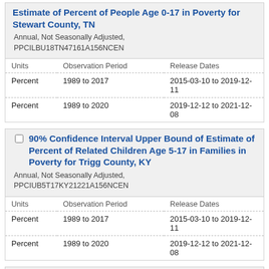| Units | Observation Period | Release Dates |
| --- | --- | --- |
| Percent | 1989 to 2017 | 2015-03-10 to 2019-12-11 |
| Percent | 1989 to 2020 | 2019-12-12 to 2021-12-08 |
90% Confidence Interval Upper Bound of Estimate of Percent of Related Children Age 5-17 in Families in Poverty for Trigg County, KY
Annual, Not Seasonally Adjusted, PPCIUB5T17KY21221A156NCEN
| Units | Observation Period | Release Dates |
| --- | --- | --- |
| Percent | 1989 to 2017 | 2015-03-10 to 2019-12-11 |
| Percent | 1989 to 2020 | 2019-12-12 to 2021-12-08 |
90% Confidence Interval Upper Bound of Estimate of Percent of Related Children Age 5-